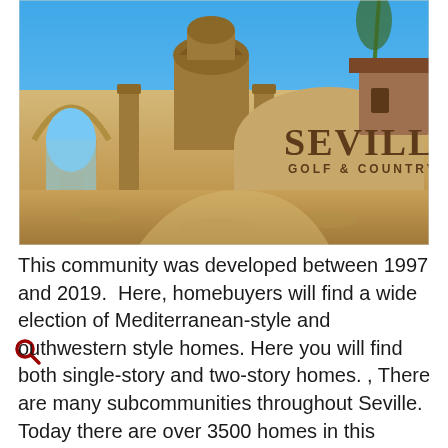[Figure (photo): Entrance sign for Seville Golf & Country Club community showing a sandstone-colored decorative wall with the text 'SEVILLE GOLF & COUNTRY CLUB', an archway on the left, a circular tower/rotunda in the center background, and desert landscaping in the foreground. Blue sky overhead.]
This community was developed between 1997 and 2019.  Here, homebuyers will find a wide election of Mediterranean-style and outhwestern style homes. Here you will find both single-story and two-story homes. , There are many subcommunities throughout Seville. Today there are over 3500 homes in this Seville